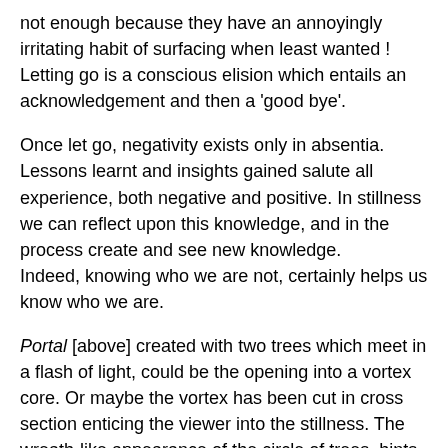not enough because they have an annoyingly irritating habit of surfacing when least wanted ! Letting go is a conscious elision which entails an acknowledgement and then a 'good bye'.
Once let go, negativity exists only in absentia. Lessons learnt and insights gained salute all experience, both negative and positive. In stillness we can reflect upon this knowledge, and in the process create and see new knowledge. Indeed, knowing who we are not, certainly helps us know who we are.
Portal [above] created with two trees which meet in a flash of light, could be the opening into a vortex core. Or maybe the vortex has been cut in cross section enticing the viewer into the stillness. The wreath-like appearance of the circle of trees, hints at a rememberance and acknowledgement of those things which we have let go, in order to become still.
Indeed, to become still, I do think we need more than an action of letting go. This action requires imagination, as does being in stillness. Imagination is the propellor and beauty is